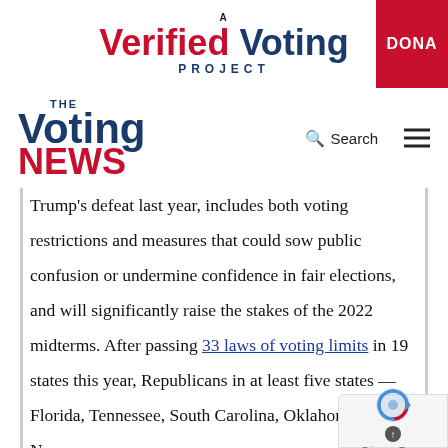[Figure (logo): A Verified Voting Project logo with red 'Verified' and dark blue 'Voting' text, and a red DONATE button on the right]
[Figure (logo): The Voting News logo with dark blue 'Voting' and red 'NEWS' text, plus Search icon and hamburger menu]
Trump's defeat last year, includes both voting restrictions and measures that could sow public confusion or undermine confidence in fair elections, and will significantly raise the stakes of the 2022 midterms. After passing 33 laws of voting limits in 19 states this year, Republicans in at least five states — Florida, Tennessee, South Carolina, Oklahoma and New